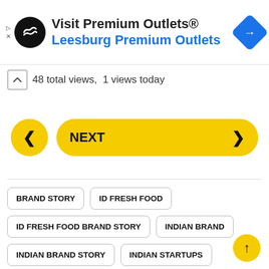[Figure (screenshot): Advertisement banner for Visit Premium Outlets - Leesburg Premium Outlets with black circle logo and blue navigation diamond icon]
48 total views,  1 views today
[Figure (infographic): Navigation buttons: left arrow circle button (yellow), NEXT button (yellow pill), right arrow]
BRAND STORY
ID FRESH FOOD
ID FRESH FOOD BRAND STORY
INDIAN BRAND
INDIAN BRAND STORY
INDIAN STARTUPS